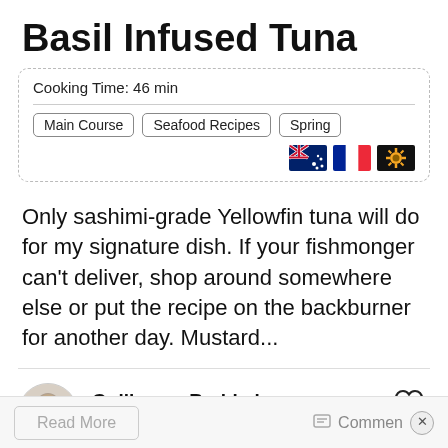Basil Infused Tuna
Cooking Time: 46 min
Main Course
Seafood Recipes
Spring
Only sashimi-grade Yellowfin tuna will do for my signature dish. If your fishmonger can't deliver, shop around somewhere else or put the recipe on the backburner for another day. Mustard...
Guillaume Brahimi
November 2, 2018
Like 9
Read More
Comment